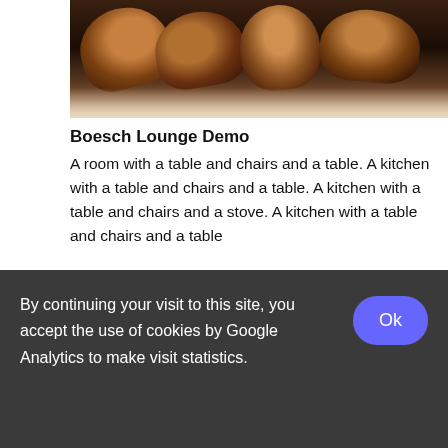[Figure (photo): Top portion of a photo showing brown leather shoes/feet from above, dark background]
Boesch Lounge Demo
A room with a table and chairs and a table. A kitchen with a table and chairs and a table. A kitchen with a table and chairs and a stove. A kitchen with a table and chairs and a table
[Figure (photo): Interior architectural photo showing curved metallic grilles or vents, chrome and steel tones, industrial or vehicle interior]
By continuing your visit to this site, you accept the use of cookies by Google Analytics to make visit statistics.